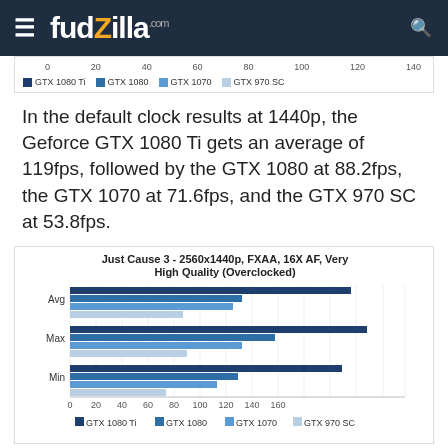fudzilla.com
[Figure (bar-chart): Bottom portion of a previous horizontal bar chart showing axis labels 0,20,40,60,80,100,120,140 and legend for GTX 1080 Ti, GTX 1080, GTX 1070, GTX 970 SC]
In the default clock results at 1440p, the Geforce GTX 1080 Ti gets an average of 119fps, followed by the GTX 1080 at 88.2fps, the GTX 1070 at 71.6fps, and the GTX 970 SC at 53.8fps.
[Figure (bar-chart): Just Cause 3 - 2560x1440p, FXAA, 16X AF, Very High Quality (Overclocked)]